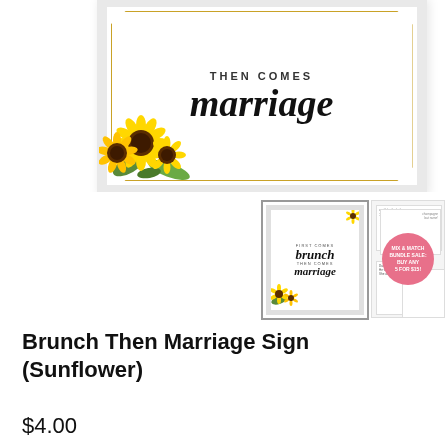[Figure (photo): Main product image of a framed 'Brunch Then Marriage' sign with sunflower decoration and gold geometric border on a white background]
[Figure (photo): Thumbnail 1: smaller view of the Brunch Then Marriage sign with sunflowers in a white frame]
[Figure (photo): Thumbnail 2: bundle sale image showing multiple bridal shower game cards with a pink circle badge reading MIX & MATCH BUNDLE SALE: BUY ANY 5 FOR $15!]
Brunch Then Marriage Sign (Sunflower)
$4.00